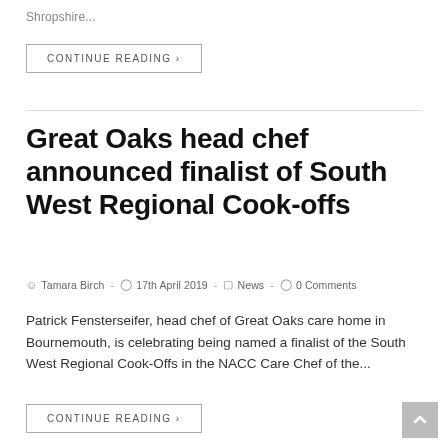Shropshire...
CONTINUE READING ›
Great Oaks head chef announced finalist of South West Regional Cook-offs
Tamara Birch  -  17th April 2019  -  News  -  0 Comments
Patrick Fensterseifer, head chef of Great Oaks care home in Bournemouth, is celebrating being named a finalist of the South West Regional Cook-Offs in the NACC Care Chef of the...
CONTINUE READING ›